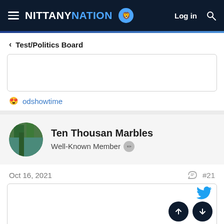NITTANY NATION — Log in
< Test/Politics Board
[Figure (other): Empty content box above reaction line]
😍 odshowtime
Ten Thousan Marbles — Well-Known Member
Oct 16, 2021  #21
[Figure (other): Post content box with Twitter bird icon and navigation buttons (up/down arrows)]